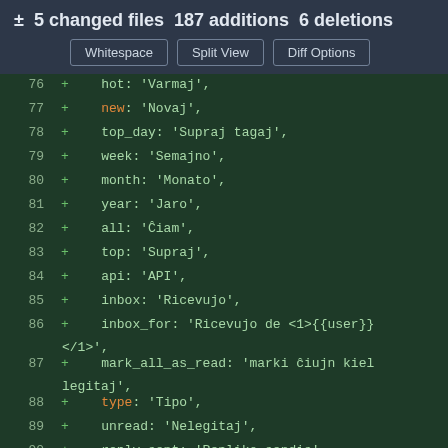± 5 changed files  187 additions  6 deletions
Whitespace  |  Split View  |  Diff Options
[Figure (screenshot): Code diff view showing lines 76-92 of a locale file with Esperanto translations. Each line shows a line number, a + sign indicating additions, and key-value pairs for various navigation/UI labels.]